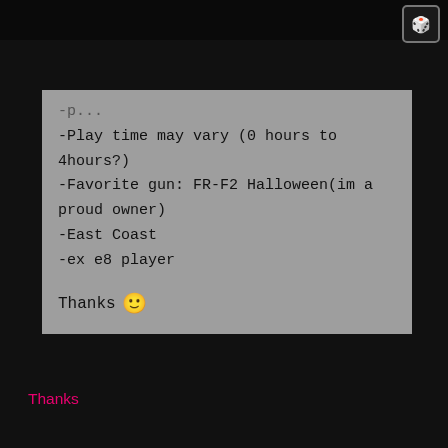-Play time may vary (0 hours to 4hours?)
-Favorite gun: FR-F2 Halloween(im a proud owner)
-East Coast
-ex e8 player

Thanks 🙂
Hello guys, its been forever since I last played CF probably due to the fact that i found a different game to play (Dirtybomb and EliteCabal) and seeing as how its the summer time I need to make some friends. My skills will be quite crappy, but i think i can still do good. If you have any other question hit me up. Ill try to be active once again in this game. No promises

Thanks